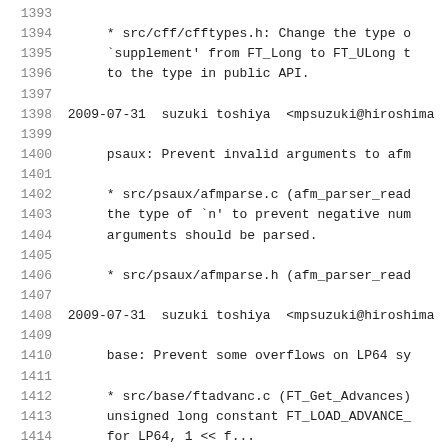1393
1394      * src/cff/cfftypes.h: Change the type o
1395      `supplement' from FT_Long to FT_ULong t
1396      to the type in public API.
1397
1398 2009-07-31  suzuki toshiya  <mpsuzuki@hiroshima
1399
1400      psaux: Prevent invalid arguments to afm
1401
1402      * src/psaux/afmparse.c (afm_parser_read
1403      the type of `n' to prevent negative num
1404      arguments should be parsed.
1405
1406      * src/psaux/afmparse.h (afm_parser_read
1407
1408 2009-07-31  suzuki toshiya  <mpsuzuki@hiroshima
1409
1410      base: Prevent some overflows on LP64 sy
1411
1412      * src/base/ftadvanc.c (FT_Get_Advances)
1413      unsigned long constant FT_LOAD_ADVANCE_
1414      for LP64, 1 << f...